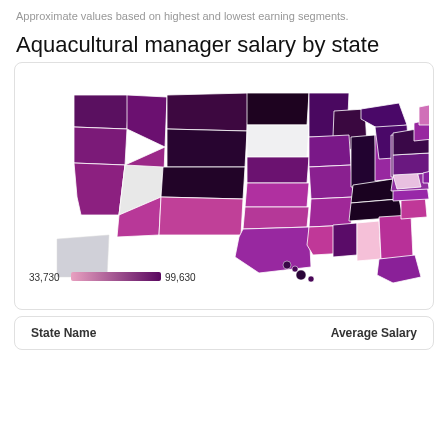Approximate values based on highest and lowest earning segments.
Aquacultural manager salary by state
[Figure (map): Choropleth map of the United States showing aquacultural manager salary by state. Color scale ranges from light pink (33,730) to dark purple (99,630). States like South Dakota and Utah appear white/no data. Most western and northern states appear in darker purple tones. Southern states appear in medium purple/pink tones.]
| State Name | Average Salary |
| --- | --- |